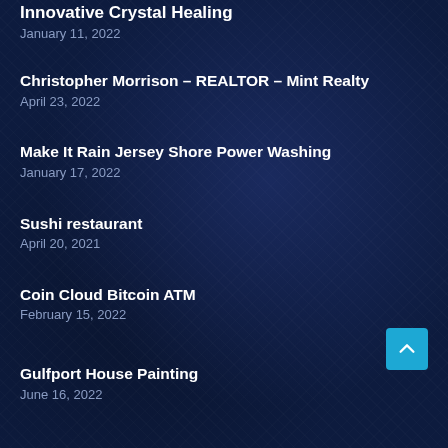Innovative Crystal Healing
January 11, 2022
Christopher Morrison – REALTOR – Mint Realty
April 23, 2022
Make It Rain Jersey Shore Power Washing
January 17, 2022
Sushi restaurant
April 20, 2021
Coin Cloud Bitcoin ATM
February 15, 2022
Gulfport House Painting
June 16, 2022